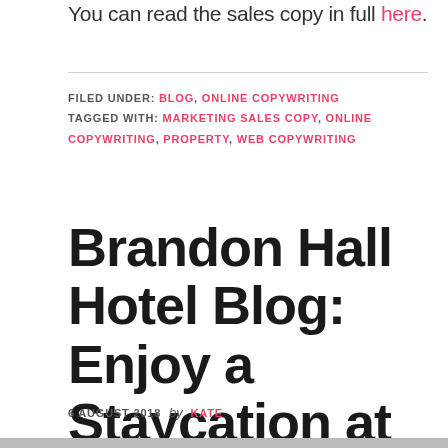You can read the sales copy in full here.
FILED UNDER: BLOG, ONLINE COPYWRITING
TAGGED WITH: MARKETING SALES COPY, ONLINE COPYWRITING, PROPERTY, WEB COPYWRITING
Brandon Hall Hotel Blog: Enjoy a Staycation at the Brandon Hall
6 AUGUST 2018  by  KATE